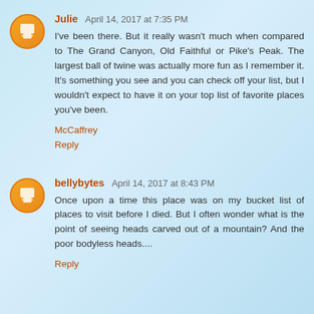Julie  April 14, 2017 at 7:35 PM
I've been there. But it really wasn't much when compared to The Grand Canyon, Old Faithful or Pike's Peak. The largest ball of twine was actually more fun as I remember it. It's something you see and you can check off your list, but I wouldn't expect to have it on your top list of favorite places you've been.
McCaffrey
Reply
bellybytes  April 14, 2017 at 8:43 PM
Once upon a time this place was on my bucket list of places to visit before I died. But I often wonder what is the point of seeing heads carved out of a mountain? And the poor bodyless heads....
Reply